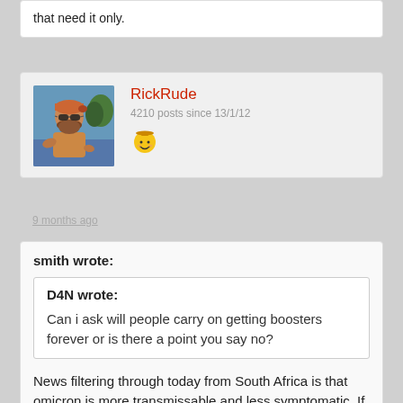that need it only.
RickRude
4210 posts since 13/1/12
9 months ago
smith wrote:
D4N wrote:
Can i ask will people carry on getting boosters forever or is there a point you say no?
News filtering through today from South Africa is that omicron is more transmissable and less symptomatic. If that is true we can go the route of herd immunity and give boosters to the older population and the immunocompromised only. Fingers crossed it mutates weaker and weaker and becomes an endemic for those that need it only.